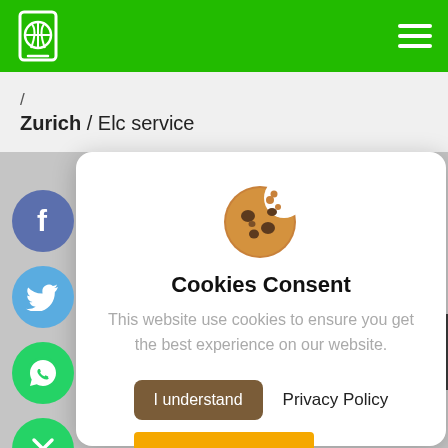/ Zurich / Elc service
[Figure (screenshot): Cookie consent modal dialog with cookie emoji icon, title 'Cookies Consent', description text, 'I understand' button, and 'Privacy Policy' link. Social media share buttons (Facebook, Twitter, WhatsApp) and close button visible on left side.]
Cookies Consent
This website use cookies to ensure you get the best experience on our website.
I understand   Privacy Policy